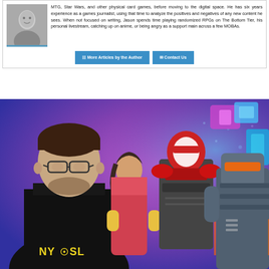MTG, Star Wars, and other physical card games, before moving to the digital space. He has six years experience as a games journalist, using that time to analyze the positives and negatives of any new content he sees. When not focused on writing, Jason spends time playing randomized RPGs on The Bottom Tier, his personal livestream, catching up on anime, or being angry as a support main across a few MOBAs.
[Figure (other): Black and white author photo thumbnail]
[Figure (other): Button: More Articles by the Author]
[Figure (other): Button: Contact Us]
[Figure (photo): Photo of a young man wearing glasses and a black hoodie with NYCOSL logo, in front of Fortnite game characters including a female character, a red ninja-like masked character, and a large robotic character, against a colorful purple/blue background.]